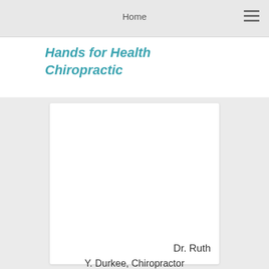Home
Hands for Health Chiropractic
[Figure (photo): White card/photo placeholder area for chiropractic practice]
Dr. Ruth
Y. Durkee, Chiropractor